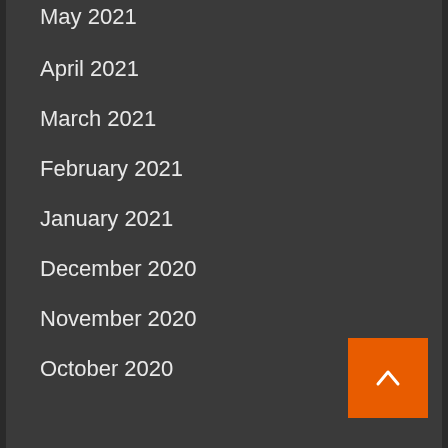May 2021
April 2021
March 2021
February 2021
January 2021
December 2020
November 2020
October 2020